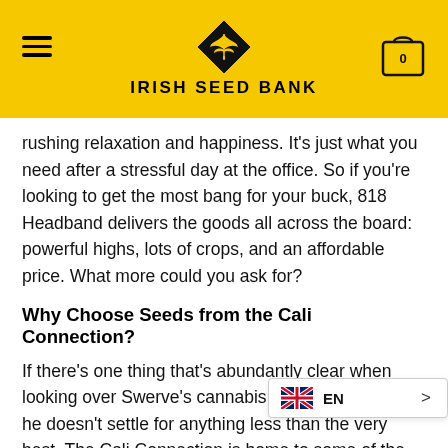IRISH SEED BANK
rushing relaxation and happiness. It’s just what you need after a stressful day at the office. So if you’re looking to get the most bang for your buck, 818 Headband delivers the goods all across the board: powerful highs, lots of crops, and an affordable price. What more could you ask for?
Why Choose Seeds from the Cali Connection?
If there’s one thing that’s abundantly clear when looking over Swerve’s cannabis selection, it’s that he doesn’t settle for anything less than the very best. The Cali Connection is home to some of the finest cannabis strains on the market today. And with nearly 15 years of experience in th … understand why. Swerve was serv…